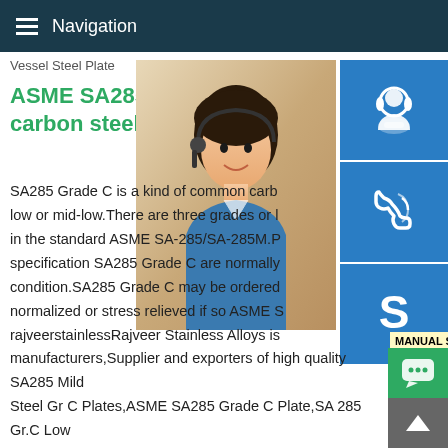Navigation
Vessel Steel Plate
ASME SA285 Grade C Middle carbon steel
SA285 Grade C is a kind of common carbo low or mid-low.There are three grades or l in the standard ASME SA-285/SA-285M.P specification SA285 Grade C are normally condition.SA285 Grade C may be ordered normalized or stress relieved if so ASME S rajveerstainlessRajveer Stainless Alloys is manufacturers,Supplier and exporters of high quality SA285 Mild Steel Gr C Plates,ASME SA285 Grade C Plate,SA 285 Gr.C Low Tensile Strength Steel,SA285 High Strength Low Alloy Structu Steel Gr C Cold Rolled Plate,SA285 Mild Steel Gr C Hot Rolle Plate,ASME SA285 Mild Steel Grade C Plates,Plates in India, Arabic
[Figure (photo): Customer service representative woman with headset, smiling]
MANUAL SE QUOTING O Email: bsteel1@163.com